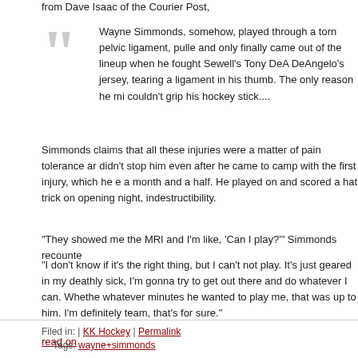from Dave Isaac of the Courier Post,
Wayne Simmonds, somehow, played through a torn pelvic ligament, pulled and only finally came out of the lineup when he fought Sewell's Tony DeAngelo's jersey, tearing a ligament in his thumb. The only reason he mi couldn't grip his hockey stick....
Simmonds claims that all these injuries were a matter of pain tolerance an didn't stop him even after he came to camp with the first injury, which he e a month and a half. He played on and scored a hat trick on opening night, indestructibility.
“They showed me the MRI and I’m like, ‘Can I play?’” Simmonds recounte
“I don’t know if it’s the right thing, but I can’t not play. It’s just geared in my deathly sick, I’m gonna try to get out there and do whatever I can. Whethe whatever minutes he wanted to play me, that was up to him. I’m definitely team, that’s for sure.”
read on
Filed in: | KK Hockey | Permalink
Tags: wayne+simmonds